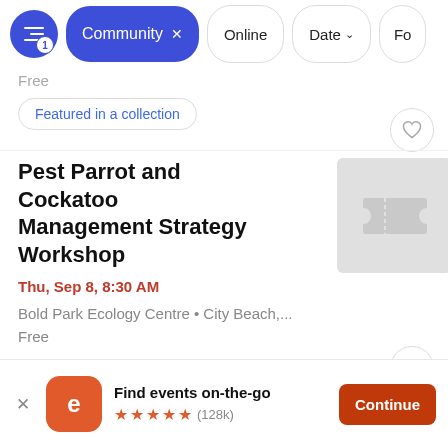Filter bar with: filters icon (1 active), Community x (active pill), Online, Date, Fo...
Free
Featured in a collection
Pest Parrot and Cockatoo Management Strategy Workshop
Thu, Sep 8, 8:30 AM
Bold Park Ecology Centre • City Beach,...
Free
Find events on-the-go
★★★★★ (128k)
Continue